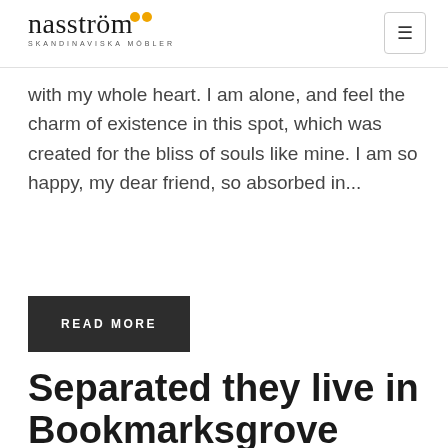nasström SKANDINAVISKA MÖBLER
with my whole heart. I am alone, and feel the charm of existence in this spot, which was created for the bliss of souls like mine. I am so happy, my dear friend, so absorbed in...
READ MORE
Separated they live in Bookmarksgrove